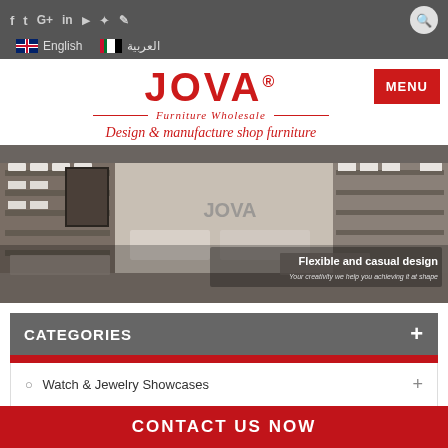f  t  G+  in  YouTube  Pinterest  Blog  | English  العربية
[Figure (logo): JOVA Furniture Wholesale logo with tagline 'Design & manufacture shop furniture']
[Figure (photo): Interior of a JOVA furniture store showing display shelves and showcases. Overlay text: 'Flexible and casual design — Your creativity we help you achieving it at shape']
CATEGORIES
Watch & Jewelry Showcases
CONTACT US NOW